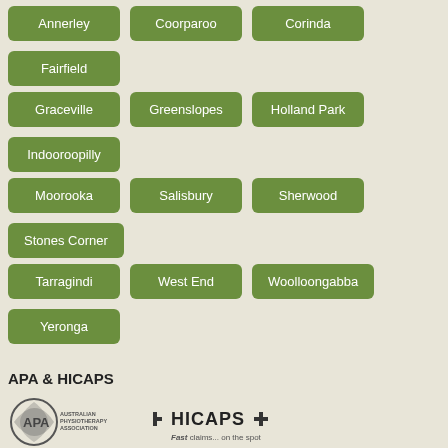Annerley
Coorparoo
Corinda
Fairfield
Graceville
Greenslopes
Holland Park
Indooroopilly
Moorooka
Salisbury
Sherwood
Stones Corner
Tarragindi
West End
Woolloongabba
Yeronga
APA & HICAPS
[Figure (logo): Australian Physiotherapy Association (APA) logo with circular emblem and text]
[Figure (logo): HICAPS logo with plus signs and tagline 'Fast claims... on the spot']